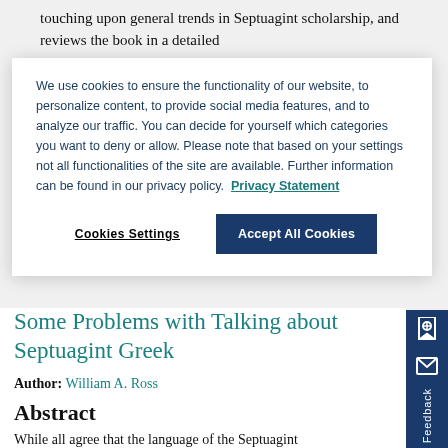touching upon general trends in Septuagint scholarship, and reviews the book in a detailed
We use cookies to ensure the functionality of our website, to personalize content, to provide social media features, and to analyze our traffic. You can decide for yourself which categories you want to deny or allow. Please note that based on your settings not all functionalities of the site are available. Further information can be found in our privacy policy.  Privacy Statement
Cookies Settings
Accept All Cookies
Some Problems with Talking about Septuagint Greek
Author: William A. Ross
Abstract
While all agree that the language of the Septuagint